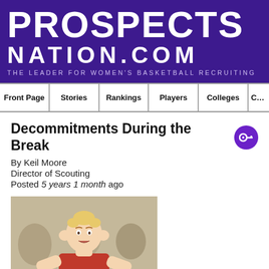PROSPECTS NATION.COM — THE LEADER FOR WOMEN'S BASKETBALL RECRUITING
Front Page | Stories | Rankings | Players | Colleges | C…
Decommitments During the Break
By Keil Moore
Director of Scouting
Posted 5 years 1 month ago
[Figure (photo): A female basketball player in a red INDY jersey holding her hands to her head, standing on a court]